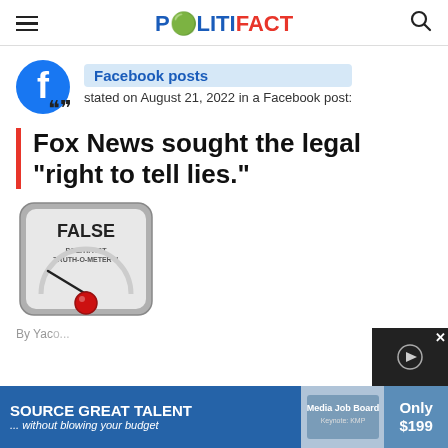POLITIFACT
[Figure (logo): Facebook logo circle icon with 'f' in white on blue background, with quote mark icon below]
Facebook posts stated on August 21, 2022 in a Facebook post:
Fox News sought the legal "right to tell lies."
[Figure (illustration): PolitiFact Truth-O-Meter gauge showing FALSE rating with needle pointing to far left and red button]
By Yaco...
[Figure (infographic): Advertisement banner: SOURCE GREAT TALENT ...without blowing your budget, Media Job Board, Only $199]